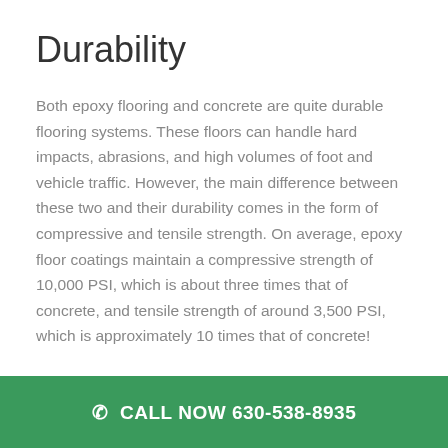Durability
Both epoxy flooring and concrete are quite durable flooring systems. These floors can handle hard impacts, abrasions, and high volumes of foot and vehicle traffic. However, the main difference between these two and their durability comes in the form of compressive and tensile strength. On average, epoxy floor coatings maintain a compressive strength of 10,000 PSI, which is about three times that of concrete, and tensile strength of around 3,500 PSI, which is approximately 10 times that of concrete!
📞 CALL NOW 630-538-8935